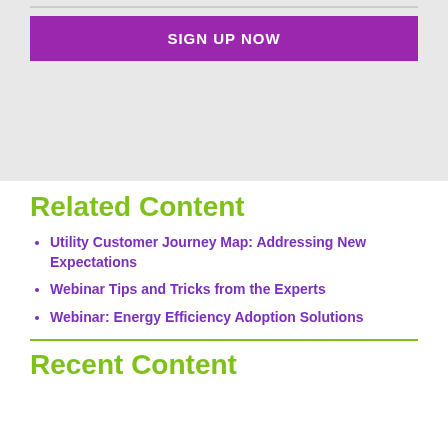[Figure (other): Gray box with a purple 'SIGN UP NOW' button at the top and a large empty gray area below]
Related Content
Utility Customer Journey Map: Addressing New Expectations
Webinar Tips and Tricks from the Experts
Webinar: Energy Efficiency Adoption Solutions
Recent Content